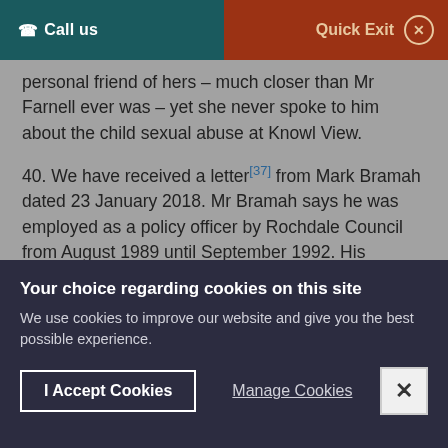Call us | Quick Exit
personal friend of hers – much closer than Mr Farnell ever was – yet she never spoke to him about the child sexual abuse at Knowl View.
40. We have received a letter[37] from Mark Bramah dated 23 January 2018. Mr Bramah says he was employed as a policy officer by Rochdale Council from August 1989 until September 1992. His responsibilities included providing political support and assistance to the Leader, then Richard
Your choice regarding cookies on this site
We use cookies to improve our website and give you the best possible experience.
I Accept Cookies
Manage Cookies